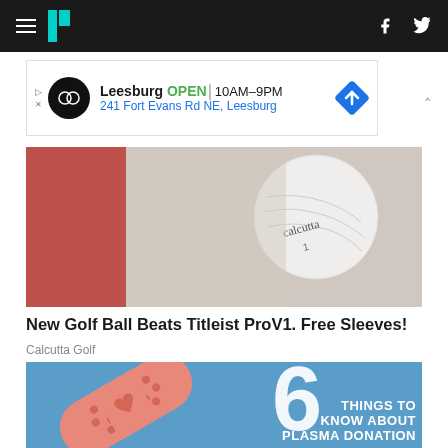HuffPost navigation bar with hamburger menu, logo, Facebook and Twitter icons
[Figure (screenshot): Advertisement banner: Leesburg OPEN 10AM-9PM, 241 Fort Evans Rd NE, Leesburg]
[Figure (photo): Close-up photo of a gloved hand holding a Calcutta golf ball]
New Golf Ball Beats Titleist ProV1. Free Sleeves!
Calcutta Golf
[Figure (infographic): 6 Things To Know About Plasma Donation - blue background with band-aid illustration featuring a heart, large white number 6]